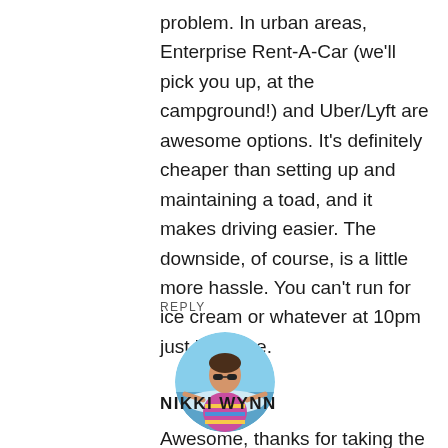problem. In urban areas, Enterprise Rent-A-Car (we'll pick you up, at the campground!) and Uber/Lyft are awesome options. It's definitely cheaper than setting up and maintaining a toad, and it makes driving easier. The downside, of course, is a little more hassle. You can't run for ice cream or whatever at 10pm just because.
REPLY
[Figure (photo): Circular avatar photo of Nikki Wynn, a woman wearing sunglasses on a boat on water.]
NIKKI WYNN
Awesome, thanks for taking the time to